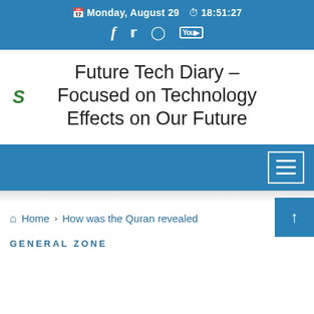Monday, August 29  18:51:27
Future Tech Diary – Focused on Technology Effects on Our Future
Navigation bar with hamburger menu
Home › How was the Quran revealed
GENERAL ZONE